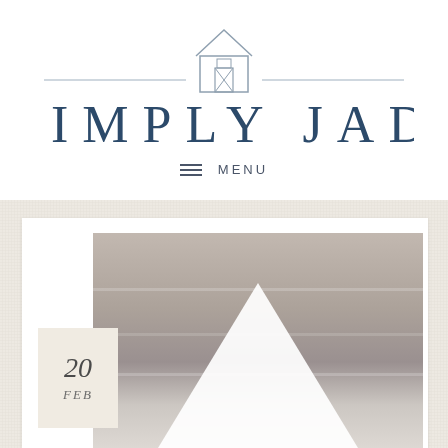[Figure (logo): Simply Jad blog logo with barn icon, horizontal lines, and spaced serif text reading SIMPLY JAD in dark teal/navy]
☰ MENU
[Figure (photo): Blog post thumbnail showing a blurred gray stone/brick background with a white triangular envelope or card shape in the foreground]
20 FEB